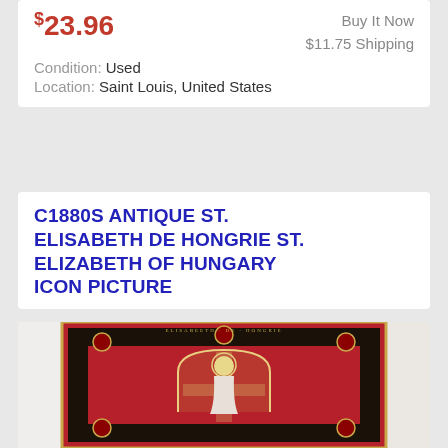$23.96
Condition: Used
Location: Saint Louis, United States
Buy It Now
$11.75 Shipping
C1880S ANTIQUE ST. ELISABETH DE HONGRIE ST. ELIZABETH OF HUNGARY ICON PICTURE
[Figure (photo): Antique book cover / icon picture of St. Elisabeth de Hongrie (St. Elizabeth of Hungary), c1880s. Ornate red and gold cover with Gothic arch framing a gilt figure of the saint with halo.]